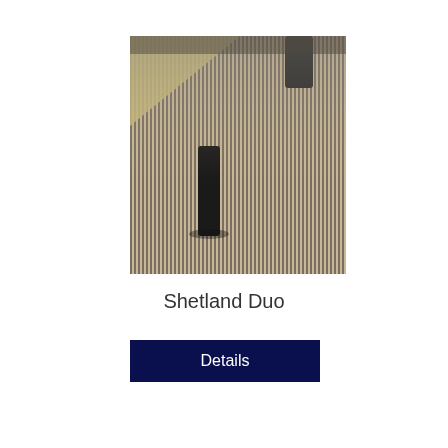[Figure (photo): Photo of a striped carpet/rug on the floor, with dark furniture legs visible in the upper portion. The carpet has a fine narrow stripe pattern in beige/cream and dark grey/brown tones.]
Shetland Duo
Details